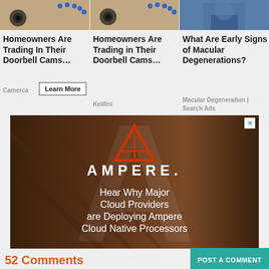[Figure (photo): Ad card 1 thumbnail showing a doorbell camera product]
Homeowners Are Trading In Their Doorbell Cams…
Camerca
[Figure (photo): Ad card 2 thumbnail showing a doorbell camera product]
Homeowners Are Trading in Their Doorbell Cams…
Keillini
[Figure (photo): Ad card 3 thumbnail showing a person]
What Are Early Signs of Macular Degenerations?
Macular Degeneration | Search Ads
[Figure (screenshot): Ampere advertisement banner showing logo and text: Hear Why Major Cloud Providers are Deploying Ampere Cloud Native Processors]
Advertisement
52 Comments
POST A COMMENT